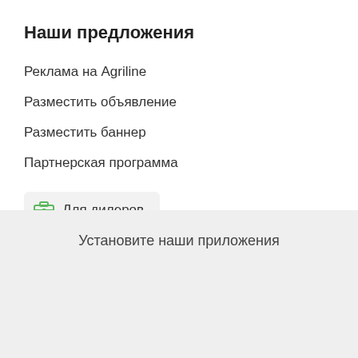Наши предложения
Реклама на Agriline
Разместить объявление
Разместить баннер
Партнерская программа
Для дилеров
Установите наши приложения